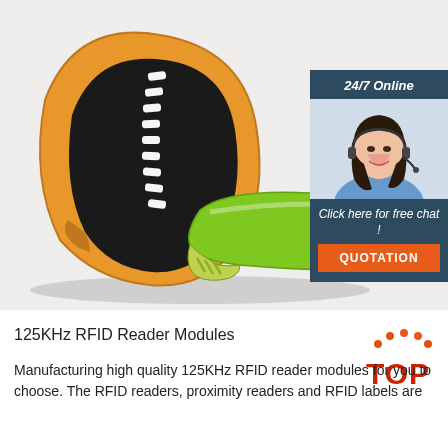[Figure (photo): Product photo of RFID silicone wristbands — one orange/black wristband standing upright and one green/yellow flat wristband, on a white background. Overlaid in the top-right corner is a customer service sidebar with a woman wearing a headset, '24/7 Online' header, 'Click here for free chat!' text, and an orange 'QUOTATION' button.]
[Figure (logo): Red 'TOP' text badge with orange dots arranged in an arch above the word TOP in bold red letters]
125KHz RFID Reader Modules
Manufacturing high quality 125KHz RFID reader modules for you to choose. The RFID readers, proximity readers and RFID labels are